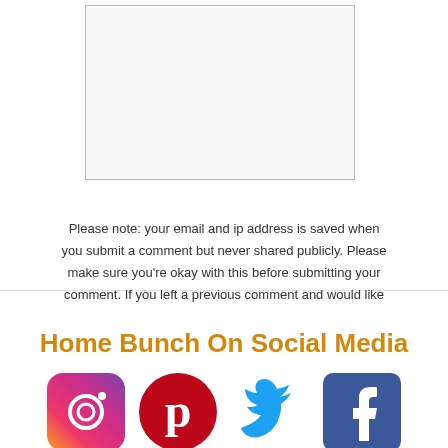Please note: your email and ip address is saved when you submit a comment but never shared publicly. Please make sure you're okay with this before submitting your comment. If you left a previous comment and would like to have it deleted, please contact me with relevant info.
Submit Comment
Home Bunch On Social Media
[Figure (illustration): Four social media icons in a row: Instagram (gradient circle), Pinterest (red circle with P), Twitter (blue bird), Facebook (dark blue square with f)]